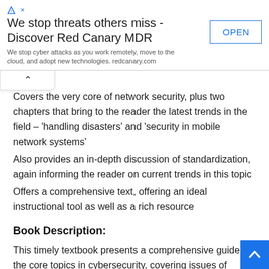[Figure (other): Advertisement banner for Red Canary MDR with title 'We stop threats others miss - Discover Red Canary MDR', subtitle 'We stop cyber attacks as you work remotely, move to the cloud, and adopt new technologies. redcanary.com', and an OPEN button.]
Covers the very core of network security, plus two chapters that bring to the reader the latest trends in the field – 'handling disasters' and 'security in mobile network systems'
Also provides an in-depth discussion of standardization, again informing the reader on current trends in this topic
Offers a comprehensive text, offering an ideal instructional tool as well as a rich resource
Book Description:
This timely textbook presents a comprehensive guide to the core topics in cybersecurity, covering issues of security that extend beyond traditional computer networks to the